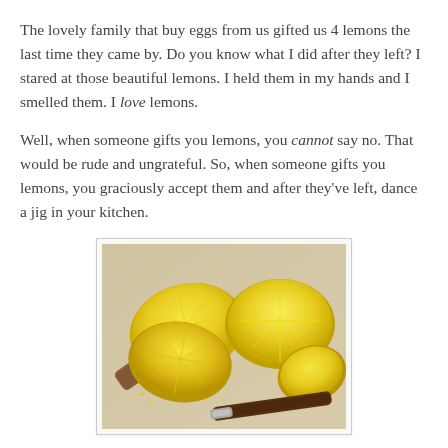The lovely family that buy eggs from us gifted us 4 lemons the last time they came by. Do you know what I did after they left? I stared at those beautiful lemons. I held them in my hands and I smelled them. I love lemons.
Well, when someone gifts you lemons, you cannot say no. That would be rude and ungrateful. So, when someone gifts you lemons, you graciously accept them and after they've left, dance a jig in your kitchen.
[Figure (photo): Photo of halved and quartered lemons on a cutting board with a citrus zester tool in the foreground and lemon zest scattered around.]
Then reality set in. What recipe is worthy of my four precious